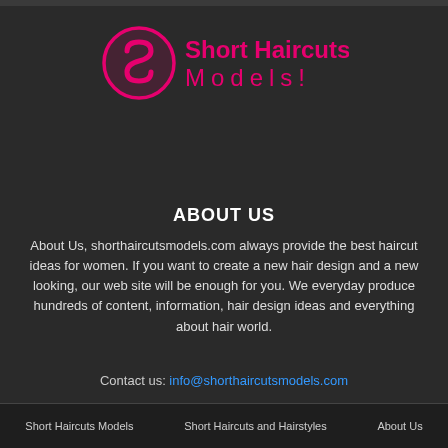[Figure (logo): Short Haircuts Models logo with pink S icon and pink/white text]
ABOUT US
About Us, shorthaircutsmodels.com always provide the best haircut ideas for women. If you want to create a new hair design and a new looking, our web site will be enough for you. We everyday produce hundreds of content, information, hair design ideas and everything about hair world.
Contact us: info@shorthaircutsmodels.com
Short Haircuts Models   Short Haircuts and Hairstyles   About Us